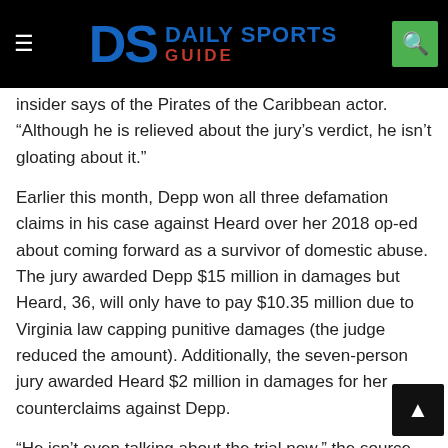Daily Sports Guide
insider says of the Pirates of the Caribbean actor. “Although he is relieved about the jury’s verdict, he isn’t gloating about it.”
Earlier this month, Depp won all three defamation claims in his case against Heard over her 2018 op-ed about coming forward as a survivor of domestic abuse. The jury awarded Depp $15 million in damages but Heard, 36, will only have to pay $10.35 million due to Virginia law capping punitive damages (the judge reduced the amount). Additionally, the seven-person jury awarded Heard $2 million in damages for her counterclaims against Depp.
“He isn’t even talking about the trial now,” the source adds. “He filed the lawsuit, because he considered it necessary. He has moved on though. He is now able to